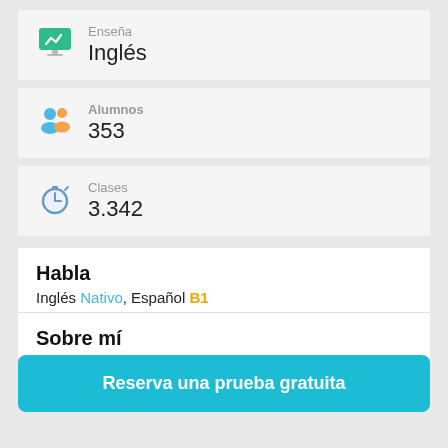[Figure (illustration): Card showing teaching subject icon (green chalkboard with checkmark) and label]
Enseña
Inglés
[Figure (illustration): Card showing students icon and label Alumnos]
Alumnos
353
[Figure (illustration): Card showing stopwatch icon and label Clases]
Clases
3.342
Habla
Inglés Nativo, Español B1
Sobre mí
Reserva una prueba gratuita